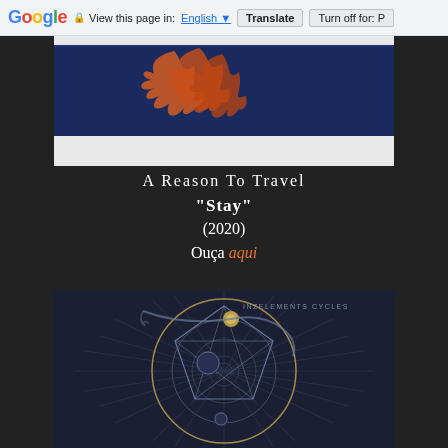Google — View this page in: English ▼  Translate  Turn off for: P
[Figure (photo): Album art patch/textile showing the word STAY embroidered on dark navy blue fabric with orange flame/feather design above]
A Reason To Travel
"Stay"
(2020)
Ouça aqui
[Figure (photo): Album artwork for Inzelements Cycles — dark navy background with intricate circular geometric/astronomical illustration showing planets, circles, triangles and celestial bodies]